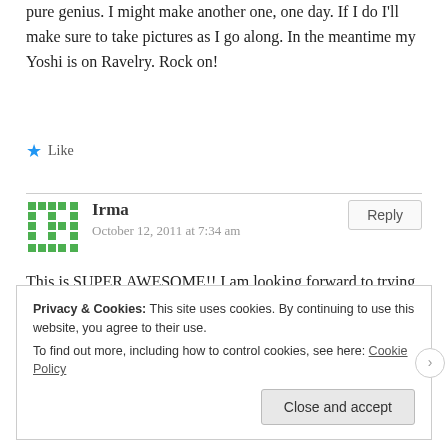pure genius. I might make another one, one day. If I do I'll make sure to take pictures as I go along. In the meantime my Yoshi is on Ravelry. Rock on!
Like
Irma
October 12, 2011 at 7:34 am
This is SUPER AWESOME!! I am looking forward to trying out this pattern! ^_^
PS – Howdy from Texas! 🙂
Privacy & Cookies: This site uses cookies. By continuing to use this website, you agree to their use.
To find out more, including how to control cookies, see here: Cookie Policy
Close and accept